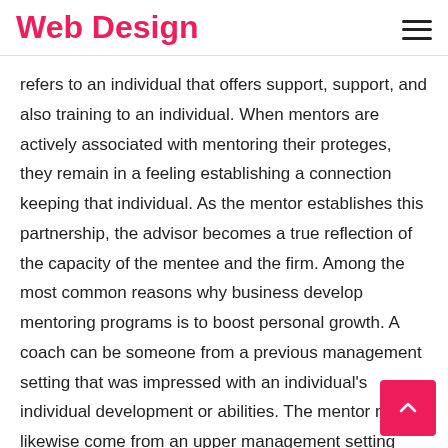Web Design
refers to an individual that offers support, support, and also training to an individual. When mentors are actively associated with mentoring their proteges, they remain in a feeling establishing a connection keeping that individual. As the mentor establishes this partnership, the advisor becomes a true reflection of the capacity of the mentee and the firm. Among the most common reasons why business develop mentoring programs is to boost personal growth. A coach can be someone from a previous management setting that was impressed with an individual's individual development or abilities. The mentor might likewise come from an upper management setting within an organization where the candidates had remarkable potential. Occasionally the right individual